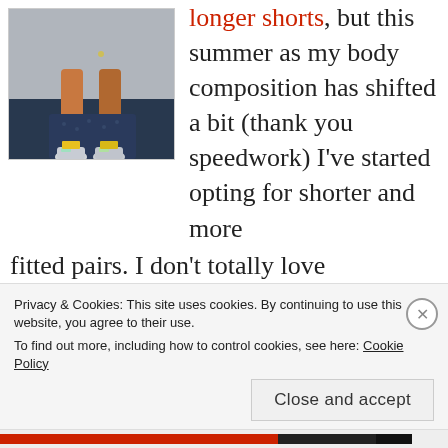[Figure (photo): Overhead view of a person's legs wearing blue patterned shorts and colorful sneakers, standing on pavement]
longer shorts, but this summer as my body composition has shifted a bit (thank you speedwork) I've started opting for shorter and more fitted pairs. I don't totally love supporting Lululemon, but for long runs you can't beat their Speed Track shorts. They have the perfect mid-length inseam and
Privacy & Cookies: This site uses cookies. By continuing to use this website, you agree to their use.
To find out more, including how to control cookies, see here: Cookie Policy
Close and accept